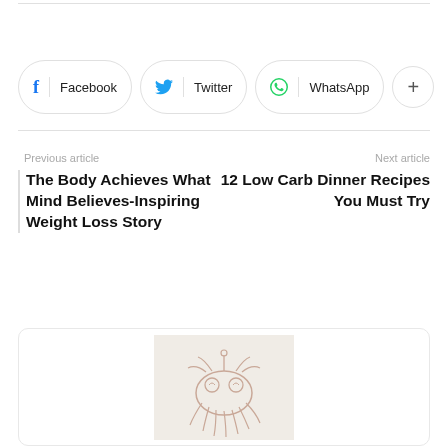[Figure (infographic): Social share buttons: Facebook, Twitter, WhatsApp, and a more (+) button]
Previous article
The Body Achieves What Mind Believes-Inspiring Weight Loss Story
Next article
12 Low Carb Dinner Recipes You Must Try
[Figure (illustration): Flying Spaghetti Monster / octopus-like illustration on a light green background inside a card]